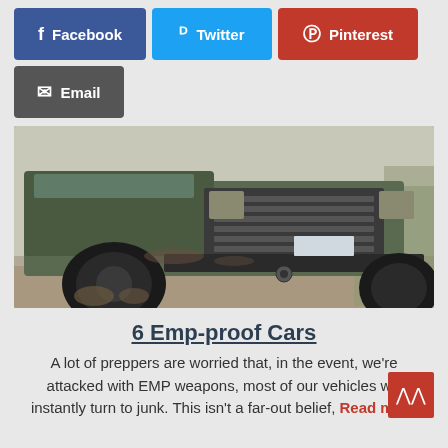[Figure (infographic): Social share buttons: Facebook (blue), Twitter (cyan), Pinterest (red), Email (gray)]
[Figure (photo): Muddy old truck/SUV (military-style green) parked on dirt/sand outdoors, front view showing large knobby tires and a heavy front bumper with winch]
6 Emp-proof Cars
A lot of preppers are worried that, in the event, we're attacked with EMP weapons, most of our vehicles will instantly turn to junk. This isn't a far-out belief, Read more